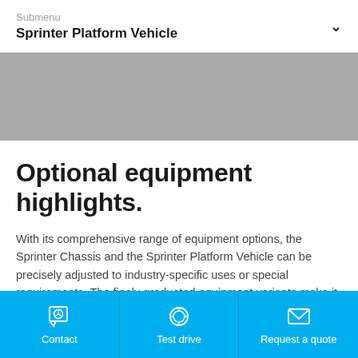Submenu
Sprinter Platform Vehicle
[Figure (photo): Grey banner/image placeholder area]
Optional equipment highlights.
With its comprehensive range of equipment options, the Sprinter Chassis and the Sprinter Platform Vehicle can be precisely adjusted to industry-specific uses or special requirements. The finely graduated equipment variants make it possible to configure the vehicle precisely in the way that it is needed.
Contact | Test drive | Request a quote